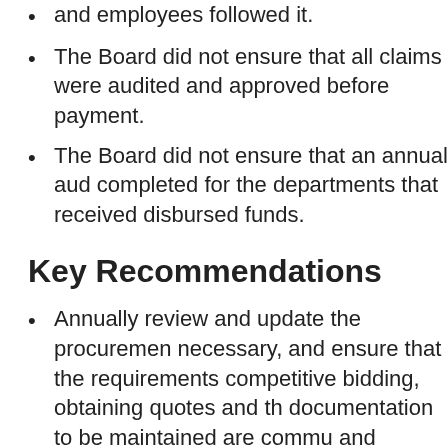and employees followed it.
The Board did not ensure that all claims were audited and approved before payment.
The Board did not ensure that an annual audit completed for the departments that received disbursed funds.
Key Recommendations
Annually review and update the procurement necessary, and ensure that the requirements competitive bidding, obtaining quotes and the documentation to be maintained are communicated and complied with by Town officials and employees.
Ensure that deliberate and thorough audits conducted prior to payment.